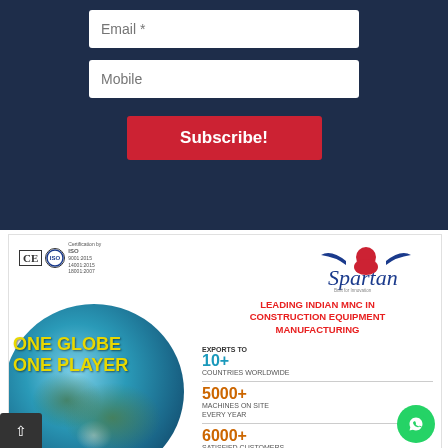Email *
Mobile
Subscribe!
[Figure (infographic): Spartan brand advertisement showing ISO/CE certifications, Spartan logo with warrior, globe graphic with text ONE GLOBE ONE PLAYER, stats: EXPORTS TO 10+ COUNTRIES WORLDWIDE, 5000+ MACHINES ON SITE EVERY YEAR, 6000+ SATISFIED CUSTOMERS]
LEADING INDIAN MNC IN CONSTRUCTION EQUIPMENT MANUFACTURING
EXPORTS TO 10+ COUNTRIES WORLDWIDE
5000+ MACHINES ON SITE EVERY YEAR
6000+ SATISFIED CUSTOMERS